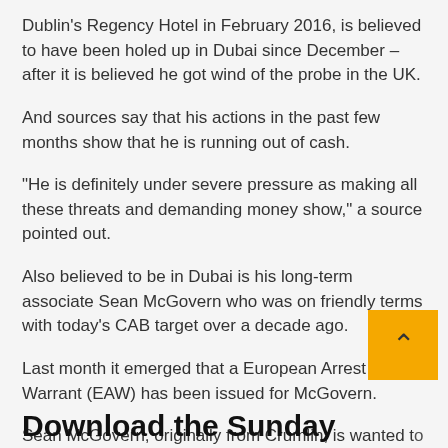Dublin's Regency Hotel in February 2016, is believed to have been holed up in Dubai since December – after it is believed he got wind of the probe in the UK.
And sources say that his actions in the past few months show that he is running out of cash.
“He is definitely under severe pressure as making all these threats and demanding money show,” a source pointed out.
Also believed to be in Dubai is his long-term associate Sean McGovern who was on friendly terms with today’s CAB target over a decade ago.
Last month it emerged that a European Arrest Warrant (EAW) has been issued for McGovern.
Sean McGovern, originally from Crumlin, is wanted to charges of murder and organised crime related offences.
Download the Sunday